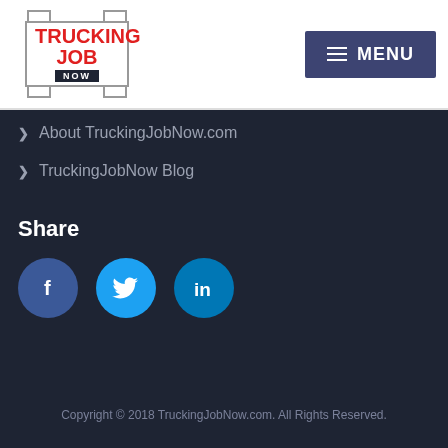[Figure (logo): Trucking Job Now logo with red text and dark box for NOW]
[Figure (infographic): Dark blue MENU button with hamburger icon]
About TruckingJobNow.com
TruckingJobNow Blog
Share
[Figure (infographic): Facebook, Twitter, and LinkedIn share buttons as colored circular icons]
Copyright © 2018 TruckingJobNow.com. All Rights Reserved.